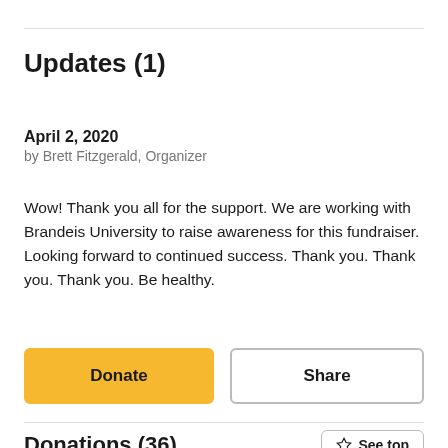Updates (1)
April 2, 2020
by Brett Fitzgerald, Organizer
Wow! Thank you all for the support. We are working with Brandeis University to raise awareness for this fundraiser. Looking forward to continued success. Thank you. Thank you. Thank you. Be healthy.
Donate
Share
Donations (36)
See top